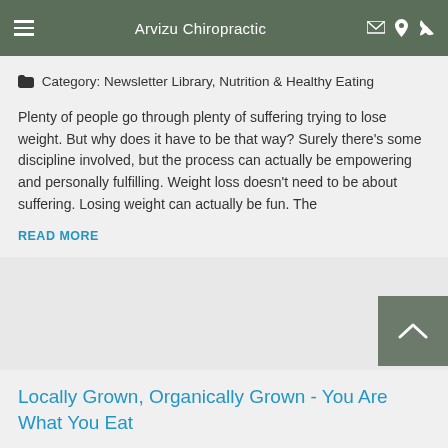Arvizu Chiropractic
Category: Newsletter Library, Nutrition & Healthy Eating
Plenty of people go through plenty of suffering trying to lose weight. But why does it have to be that way? Surely there's some discipline involved, but the process can actually be empowering and personally fulfilling. Weight loss doesn't need to be about suffering. Losing weight can actually be fun. The
READ MORE
Locally Grown, Organically Grown - You Are What You Eat
Category: Newsletter Library, Nutrition & Healthy